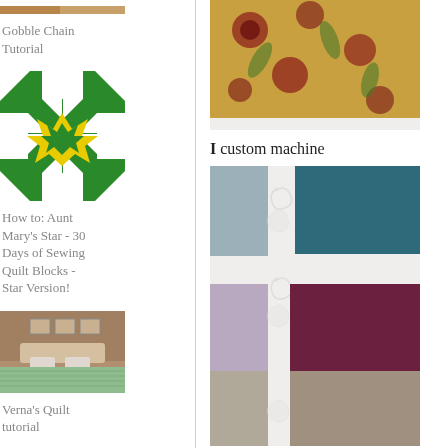[Figure (photo): Thumbnail image of quilt at top of left column (partially visible, cropped at top)]
Gobble Chain Tutorial
[Figure (illustration): Green and white quilt block with yellow star pattern - Aunt Mary's Star]
How to: Aunt Mary's Star - 30 Days of Sewing Quilt Blocks - Star Version!
[Figure (photo): Bedroom with a quilt on a bed]
Verna's Quilt tutorial
[Figure (photo): Quilt block with red star pattern on white background]
Blo
[Figure (photo): Close-up of floral fabric quilt in top right, partially visible]
I custom machine
[Figure (photo): Close-up of quilted pattern showing teal, white, purple and gray squares with swirl quilting]